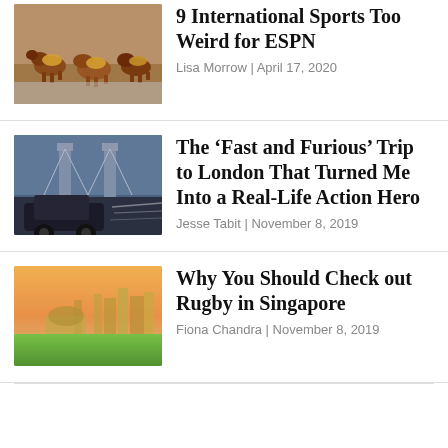[Figure (photo): Photo of costumed dogs running in a race, wearing small football-shaped costumes]
9 International Sports Too Weird for ESPN
Lisa Morrow | April 17, 2020
[Figure (photo): Photo of a car speeding through London with Tower Bridge visible in background, motion blur effect]
The ‘Fast and Furious’ Trip to London That Turned Me Into a Real-Life Action Hero
Jesse Tabit | November 8, 2019
[Figure (photo): Photo of a rugby field in Singapore with city skyline and pink sunset sky in background]
Why You Should Check out Rugby in Singapore
Fiona Chandra | November 8, 2019